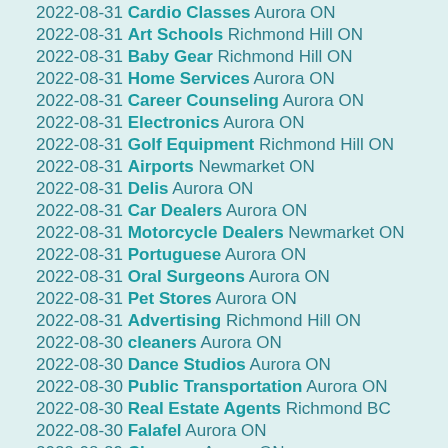2022-08-31 Cardio Classes Aurora ON
2022-08-31 Art Schools Richmond Hill ON
2022-08-31 Baby Gear Richmond Hill ON
2022-08-31 Home Services Aurora ON
2022-08-31 Career Counseling Aurora ON
2022-08-31 Electronics Aurora ON
2022-08-31 Golf Equipment Richmond Hill ON
2022-08-31 Airports Newmarket ON
2022-08-31 Delis Aurora ON
2022-08-31 Car Dealers Aurora ON
2022-08-31 Motorcycle Dealers Newmarket ON
2022-08-31 Portuguese Aurora ON
2022-08-31 Oral Surgeons Aurora ON
2022-08-31 Pet Stores Aurora ON
2022-08-31 Advertising Richmond Hill ON
2022-08-30 cleaners Aurora ON
2022-08-30 Dance Studios Aurora ON
2022-08-30 Public Transportation Aurora ON
2022-08-30 Real Estate Agents Richmond BC
2022-08-30 Falafel Aurora ON
2022-08-29 Cleaners Aurora ON
2022-08-29 Marketing Newmarket ON
2022-08-29 Home Theatre Installation Newmarket ON